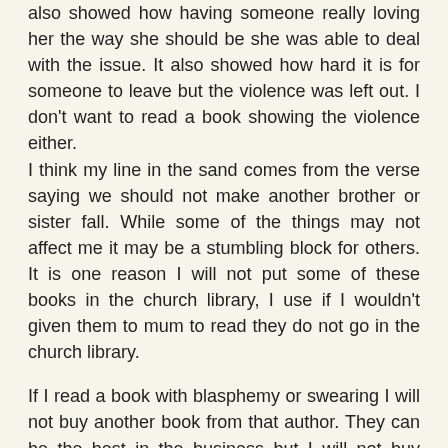also showed how having someone really loving her the way she should be she was able to deal with the issue. It also showed how hard it is for someone to leave but the violence was left out. I don't want to read a book showing the violence either.
I think my line in the sand comes from the verse saying we should not make another brother or sister fall. While some of the things may not affect me it may be a stumbling block for others. It is one reason I will not put some of these books in the church library, I use if I wouldn't given them to mum to read they do not go in the church library.
If I read a book with blasphemy or swearing I will not buy another book from that author. They can be the best in the business but I will not buy another book from them. I have made that stand with a couple of authors already. I was extremely disappointed as one author I did enjoy her books.
I am a reader and thank you for saying we are